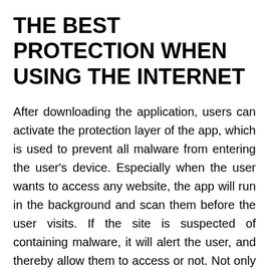THE BEST PROTECTION WHEN USING THE INTERNET
After downloading the application, users can activate the protection layer of the app, which is used to prevent all malware from entering the user's device. Especially when the user wants to access any website, the app will run in the background and scan them before the user visits. If the site is suspected of containing malware, it will alert the user, and thereby allow them to access or not. Not only that, but every time a user is attacked by malware, the app will immediately display their name and origin for the user to handle. The protection layer of this app is assessed for certainty and does not occupy much of the